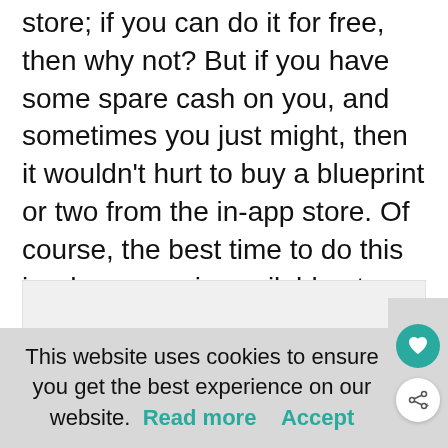store; if you can do it for free, then why not? But if you have some spare cash on you, and sometimes you just might, then it wouldn't hurt to buy a blueprint or two from the in-app store. Of course, the best time to do this is when a car is available at a discounted price as part of a limited time offer.
[Figure (other): Advertisement placeholder box with light grey background]
This website uses cookies to ensure you get the best experience on our website. Read more   Accept